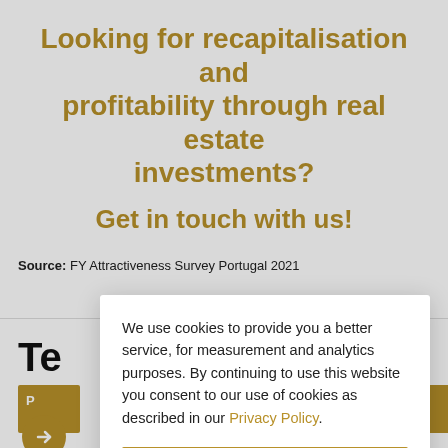Looking for recapitalisation and profitability through real estate investments?
Get in touch with us!
Source: FY Attractiveness Survey Portugal 2021
We use cookies to provide you a better service, for measurement and analytics purposes. By continuing to use this website you consent to our use of cookies as described in our Privacy Policy.
Accept